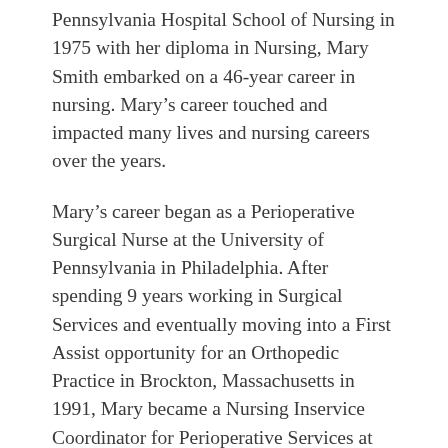Pennsylvania Hospital School of Nursing in 1975 with her diploma in Nursing, Mary Smith embarked on a 46-year career in nursing. Mary's career touched and impacted many lives and nursing careers over the years.
Mary's career began as a Perioperative Surgical Nurse at the University of Pennsylvania in Philadelphia. After spending 9 years working in Surgical Services and eventually moving into a First Assist opportunity for an Orthopedic Practice in Brockton, Massachusetts in 1991, Mary became a Nursing Inservice Coordinator for Perioperative Services at Presbyterian Hospital in Charlotte, NC and remained in this role through 1997.
In 1998 Mary accepted her first academic appointment and began her illustrative teaching